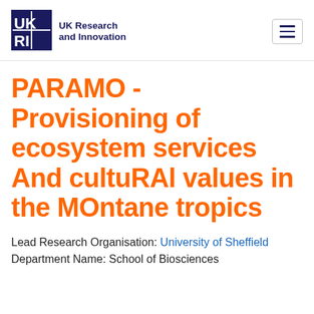UK Research and Innovation
PARAMO - Provisioning of ecosystem services And cultuRAl values in the MOntane tropics
Lead Research Organisation: University of Sheffield
Department Name: School of Biosciences